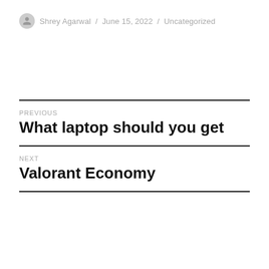Shrey Agarwal / June 15, 2022 / Uncategorized
PREVIOUS
What laptop should you get
NEXT
Valorant Economy